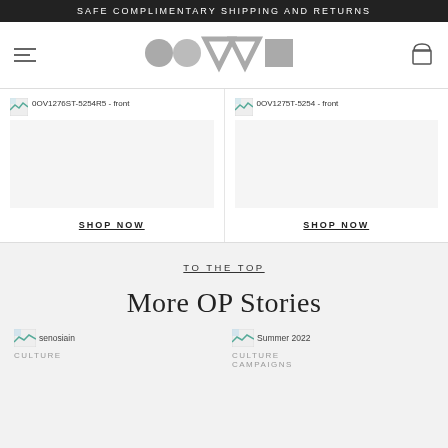SAFE COMPLIMENTARY SHIPPING AND RETURNS
[Figure (logo): Oliver Peoples logo with geometric shapes in gray]
[Figure (photo): Product image placeholder: 0OV1276ST-5254R5 - front]
SHOP NOW
[Figure (photo): Product image placeholder: 0OV1275T-5254 - front]
SHOP NOW
TO THE TOP
More OP Stories
[Figure (photo): Story image placeholder: senosiain]
CULTURE
[Figure (photo): Story image placeholder: Summer 2022]
CULTURE
CAMPAIGNS